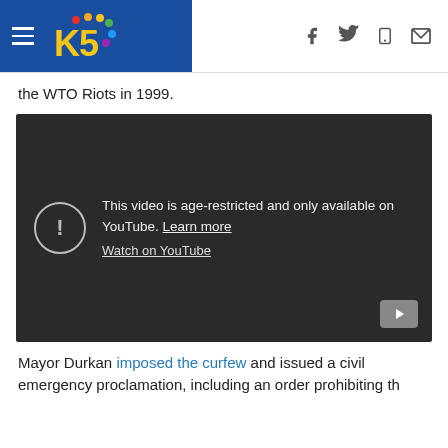KING5 NBC news navigation header with hamburger menu, KING5 logo, and social/share icons (Facebook, Twitter, mobile, email)
the WTO Riots in 1999.
[Figure (screenshot): YouTube embedded video player showing age-restriction message: 'This video is age-restricted and only available on YouTube. Learn more' with 'Watch on YouTube' link, dark background, warning icon circle with exclamation mark, YouTube play button in bottom right corner.]
Mayor Durkan imposed the curfew and issued a civil emergency proclamation, including an order prohibiting th